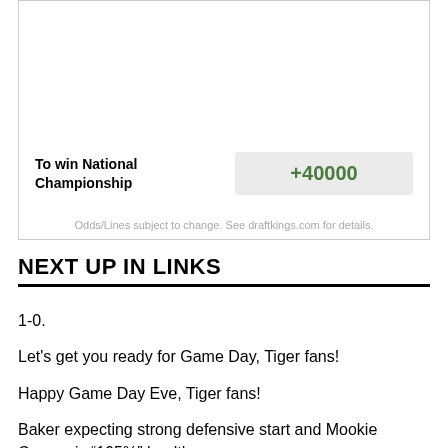| Bet Type | Odds |
| --- | --- |
| To win National Championship | +40000 |
Odds/Lines subject to change. See draftkings.com for details.
NEXT UP IN LINKS
1-0.
Let’s get you ready for Game Day, Tiger fans!
Happy Game Day Eve, Tiger fans!
Baker expecting strong defensive start and Mookie Cooper is “195%” healthy